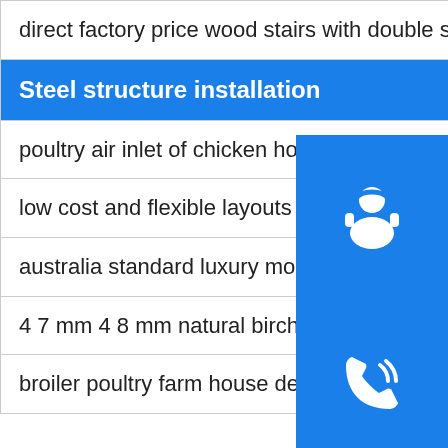direct factory price wood stairs with double stringers polishing
Steel structure installation
poultry air inlet of chicken house pig house air in louve Grinding
low cost and flexible layouts light steel frame sy Forming
australia standard luxury modular house office containe Slitting
4 7 mm 4 8 mm natural birch veneer good quality Submerged arc welding
broiler poultry farm house design chicken shed